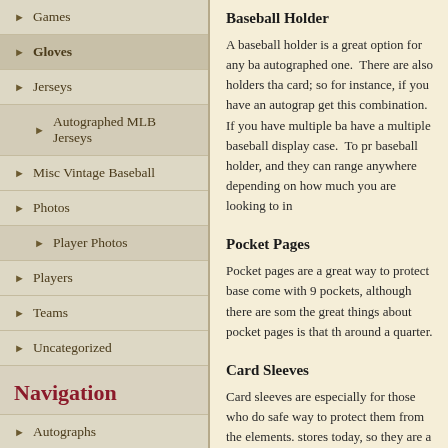Games
Gloves
Jerseys
Autographed MLB Jerseys
Misc Vintage Baseball
Photos
Player Photos
Players
Teams
Uncategorized
Navigation
Autographs
Baseballs
Bats
Cards
Baseball Holder
A baseball holder is a great option for any ba autographed one.  There are also holders tha card; so for instance, if you have an autograp get this combination.  If you have multiple ba have a multiple baseball display case.  To pr baseball holder, and they can range anywhere depending on how much you are looking to in
Pocket Pages
Pocket pages are a great way to protect base come with 9 pockets, although there are som the great things about pocket pages is that th around a quarter.
Card Sleeves
Card sleeves are especially for those who do safe way to protect them from the elements. stores today, so they are a viable alternative